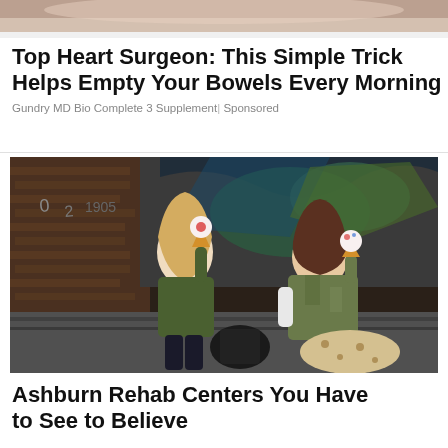[Figure (photo): Partial top image, cropped, showing a flesh-toned background]
Top Heart Surgeon: This Simple Trick Helps Empty Your Bowels Every Morning
Gundry MD Bio Complete 3 Supplement | Sponsored
[Figure (photo): Two young women sitting against a graffiti-covered brick wall, each holding an ice cream cone. One is blonde wearing a green jacket, the other has curly brown hair in camouflage clothing. A black bag sits between them.]
Ashburn Rehab Centers You Have to See to Believe